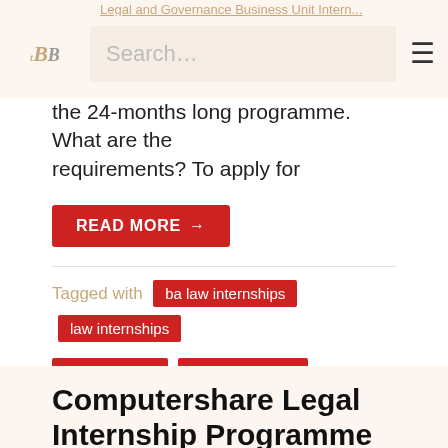Legal and Governance Business Unit Internship [partial]
the 24-months long programme. What are the requirements? To apply for
READ MORE →
Tagged with: ba law internships | law internships | llb internships | mqa internships
Computershare Legal Internship Programme 2015
Are you an LLB Law graduate looking for an
[Figure (logo): Computershare South Africa company logo]